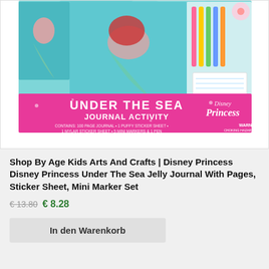[Figure (photo): Product image of Disney Princess Under The Sea Journal Activity set showing Ariel the mermaid on a pink and teal box with mini markers, sticker sheets, and journal contents displayed. Pink banner reads UNDER THE SEA JOURNAL ACTIVITY with Disney Princess logo.]
Shop By Age Kids Arts And Crafts | Disney Princess Disney Princess Under The Sea Jelly Journal With Pages, Sticker Sheet, Mini Marker Set
€ 13.80 € 8.28
In den Warenkorb